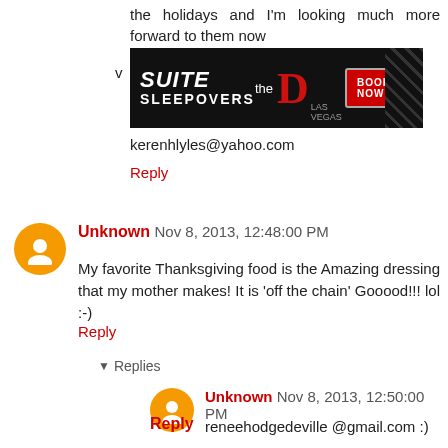the holidays and I'm looking much more forward to them now
[Figure (photo): Advertisement banner for 'Suite Sleepovers' at The D Las Vegas with a 'Book Now' button on dark background]
kerenhlyles@yahoo.com
Reply
Unknown  Nov 8, 2013, 12:48:00 PM
My favorite Thanksgiving food is the Amazing dressing that my mother makes! It is 'off the chain' Gooood!!! lol :-)
Reply
Replies
Unknown  Nov 8, 2013, 12:50:00 PM
reneehodgedeville @gmail.com :)
Reply